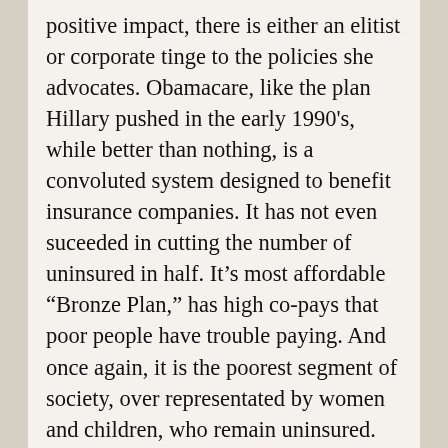positive impact, there is either an elitist or corporate tinge to the policies she advocates. Obamacare, like the plan Hillary pushed in the early 1990's, while better than nothing, is a convoluted system designed to benefit insurance companies. It has not even suceeded in cutting the number of uninsured in half. It's most affordable “Bronze Plan,” has high co-pays that poor people have trouble paying. And once again, it is the poorest segment of society, over representated by women and children, who remain uninsured.
Hillary’s espousal of equal pay for women has focused on ensuring that professional women make as much as professional men and enabling women to shatter the glass ceiling that keeps them from ascending to the most powerful corporate positions. This kind of